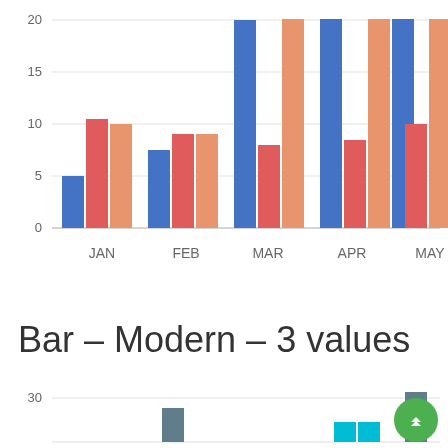[Figure (grouped-bar-chart): ]
Bar – Modern – 3 values
[Figure (grouped-bar-chart): ]